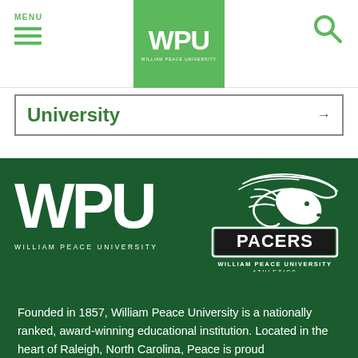MENU | WPU William Peace University | Search
University →
[Figure (logo): WPU William Peace University white logo on dark green background with Pacers athletics logo]
Founded in 1857, William Peace University is a nationally ranked, award-winning educational institution. Located in the heart of Raleigh, North Carolina, Peace is proud